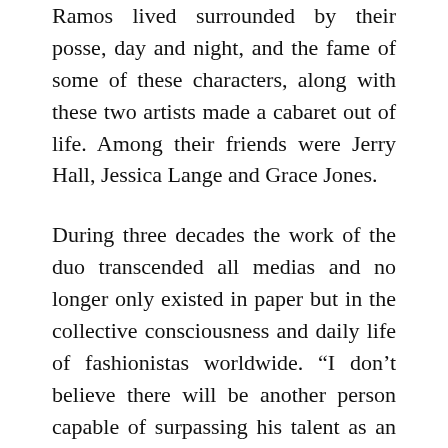Ramos lived surrounded by their posse, day and night, and the fame of some of these characters, along with these two artists made a cabaret out of life. Among their friends were Jerry Hall, Jessica Lange and Grace Jones.
During three decades the work of the duo transcended all medias and no longer only existed in paper but in the collective consciousness and daily life of fashionistas worldwide. “I don’t believe there will be another person capable of surpassing his talent as an illustrator and use it to translate the social climate of his time” affirms Roger Padilha.
There will also not be another person who will